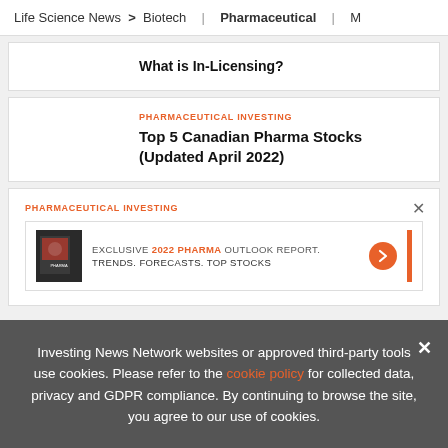Life Science News > Biotech | Pharmaceutical | M
What is In-Licensing?
PHARMACEUTICAL INVESTING
Top 5 Canadian Pharma Stocks (Updated April 2022)
PHARMACEUTICAL INVESTING
[Figure (screenshot): Ad banner: EXCLUSIVE 2022 PHARMA OUTLOOK REPORT. TRENDS. FORECASTS. TOP STOCKS. with book cover image and orange arrow button.]
Investing News Network websites or approved third-party tools use cookies. Please refer to the cookie policy for collected data, privacy and GDPR compliance. By continuing to browse the site, you agree to our use of cookies.